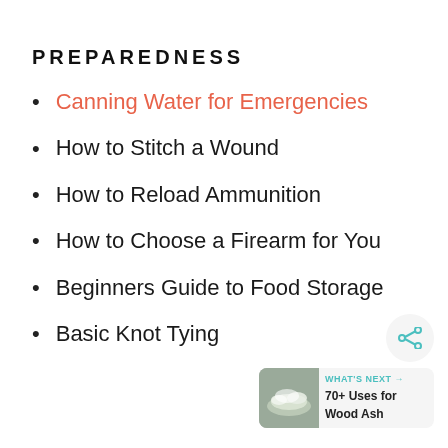PREPAREDNESS
Canning Water for Emergencies
How to Stitch a Wound
How to Reload Ammunition
How to Choose a Firearm for You
Beginners Guide to Food Storage
Basic Knot Tying
[Figure (infographic): Share button icon (circle with share symbol) and a 'What's Next' widget showing '70+ Uses for Wood Ash' with a thumbnail image of wood ash]